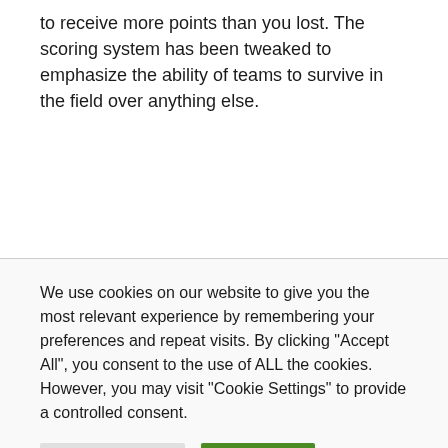to receive more points than you lost. The scoring system has been tweaked to emphasize the ability of teams to survive in the field over anything else.
We use cookies on our website to give you the most relevant experience by remembering your preferences and repeat visits. By clicking "Accept All", you consent to the use of ALL the cookies. However, you may visit "Cookie Settings" to provide a controlled consent.